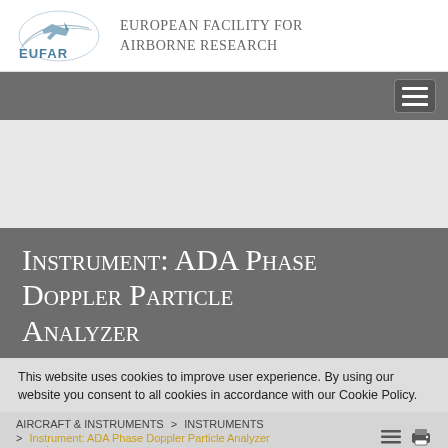[Figure (logo): EUFAR logo with stylized bird/aircraft and text, alongside 'European Facility For Airborne Research' organization name]
[Figure (screenshot): Gray navigation bar with hamburger menu button on right]
Instrument: ADA Phase Doppler Particle Analyzer
This website uses cookies to improve user experience. By using our website you consent to all cookies in accordance with our Cookie Policy.
AIRCRAFT & INSTRUMENTS  >  INSTRUMENTS  >  Instrument: ADA Phase Doppler Particle Analyzer